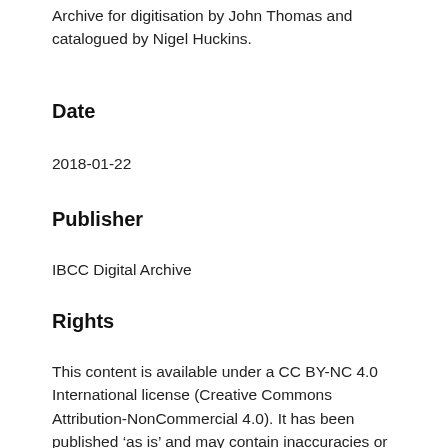Archive for digitisation by John Thomas and catalogued by Nigel Huckins.
Date
2018-01-22
Publisher
IBCC Digital Archive
Rights
This content is available under a CC BY-NC 4.0 International license (Creative Commons Attribution-NonCommercial 4.0). It has been published ‘as is’ and may contain inaccuracies or culturally inappropriate references that do not necessarily reflect the official